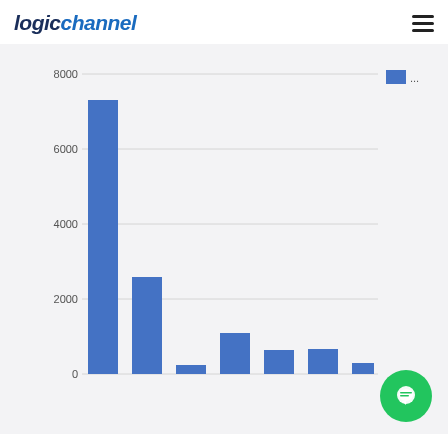logichannel
[Figure (bar-chart): Bar chart]